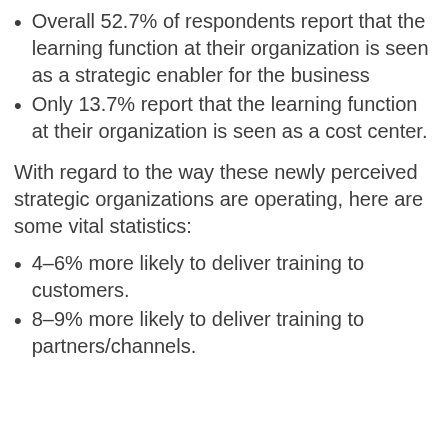Overall 52.7% of respondents report that the learning function at their organization is seen as a strategic enabler for the business
Only 13.7% report that the learning function at their organization is seen as a cost center.
With regard to the way these newly perceived strategic organizations are operating, here are some vital statistics:
4–6% more likely to deliver training to customers.
8–9% more likely to deliver training to partners/channels.